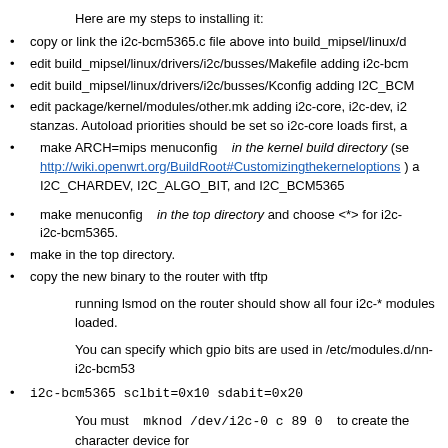Here are my steps to installing it:
copy or link the i2c-bcm5365.c file above into build_mipsel/linux/d...
edit build_mipsel/linux/drivers/i2c/busses/Makefile adding i2c-bcm...
edit build_mipsel/linux/drivers/i2c/busses/Kconfig adding I2C_BCM...
edit package/kernel/modules/other.mk adding i2c-core, i2c-dev, i2... stanzas. Autoload priorities should be set so i2c-core loads first, a...
make ARCH=mips menuconfig   in the kernel build directory (see http://wiki.openwrt.org/BuildRoot#Customizingthekerneloptions ) a... I2C_CHARDEV, I2C_ALGO_BIT, and I2C_BCM5365
make menuconfig   in the top directory and choose <*> for i2c-... i2c-bcm5365.
make in the top directory.
copy the new binary to the router with tftp
running lsmod on the router should show all four i2c-* modules loaded.
You can specify which gpio bits are used in /etc/modules.d/nn-i2c-bcm53...
i2c-bcm5365 sclbit=0x10 sdabit=0x20
You must   mknod /dev/i2c-0 c 89 0   to create the character device for... bus.